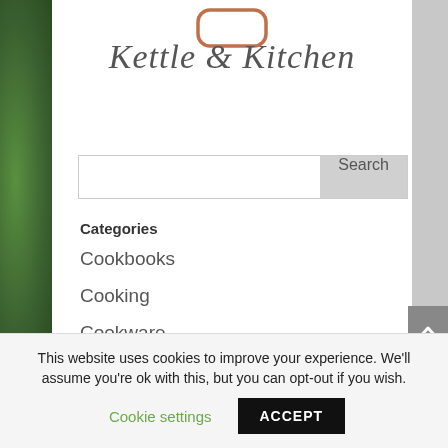[Figure (logo): Rounded rectangle logo icon outline in orange/terracotta color at the top center of the page]
Kettle & Kitchen
[Figure (screenshot): Search input field with Search button on right side]
Categories
Cookbooks
Cooking
Cookware
This website uses cookies to improve your experience. We'll assume you're ok with this, but you can opt-out if you wish.
Cookie settings
ACCEPT